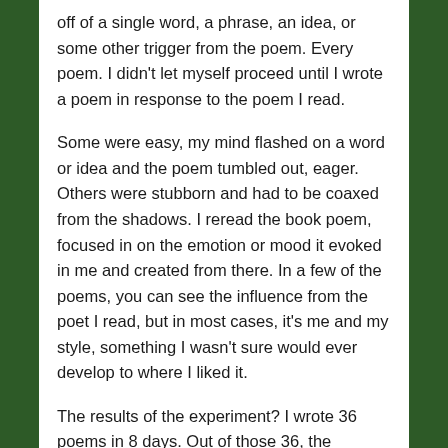off of a single word, a phrase, an idea, or some other trigger from the poem. Every poem. I didn't let myself proceed until I wrote a poem in response to the poem I read.
Some were easy, my mind flashed on a word or idea and the poem tumbled out, eager. Others were stubborn and had to be coaxed from the shadows. I reread the book poem, focused in on the emotion or mood it evoked in me and created from there. In a few of the poems, you can see the influence from the poet I read, but in most cases, it's me and my style, something I wasn't sure would ever develop to where I liked it.
The results of the experiment? I wrote 36 poems in 8 days. Out of those 36, the majority are worthy of further development. A good portion theme together nicely. The